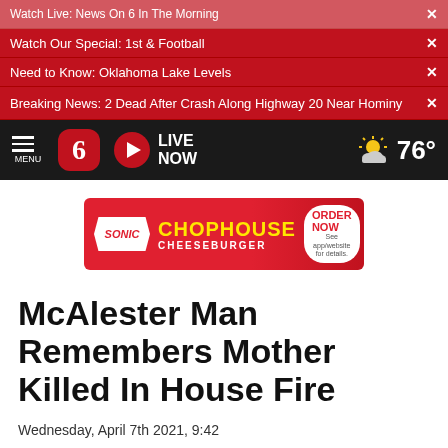Watch Live: News On 6 In The Morning ×
Watch Our Special: 1st & Football ×
Need to Know: Oklahoma Lake Levels ×
Breaking News: 2 Dead After Crash Along Highway 20 Near Hominy ×
MENU | 6 | LIVE NOW | 76°
[Figure (screenshot): Sonic Chophouse Cheeseburger advertisement banner with ORDER NOW button]
McAlester Man Remembers Mother Killed In House Fire
Wednesday, April 7th 2021, 9:42